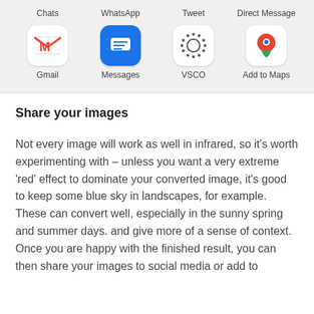[Figure (screenshot): Top panel showing app icons: Gmail, Messages, VSCO, Add to Maps with labels Chats, WhatsApp, Tweet, Direct Message above them]
Share your images
Not every image will work as well in infrared, so it's worth experimenting with – unless you want a very extreme 'red' effect to dominate your converted image, it's good to keep some blue sky in landscapes, for example. These can convert well, especially in the sunny spring and summer days. and give more of a sense of context. Once you are happy with the finished result, you can then share your images to social media or add to